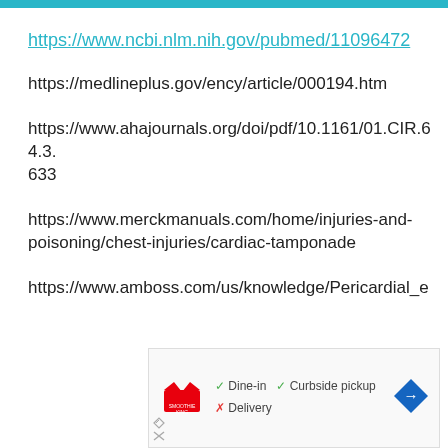https://www.ncbi.nlm.nih.gov/pubmed/11096472
https://medlineplus.gov/ency/article/000194.htm
https://www.ahajournals.org/doi/pdf/10.1161/01.CIR.64.3.633
https://www.merckmanuals.com/home/injuries-and-poisoning/chest-injuries/cardiac-tamponade
https://www.amboss.com/us/knowledge/Pericardial_e
[Figure (screenshot): Advertisement screenshot showing Smoothie King restaurant details with dine-in checkmark, curbside pickup checkmark, delivery X mark, and a blue diamond-shaped navigation arrow icon.]